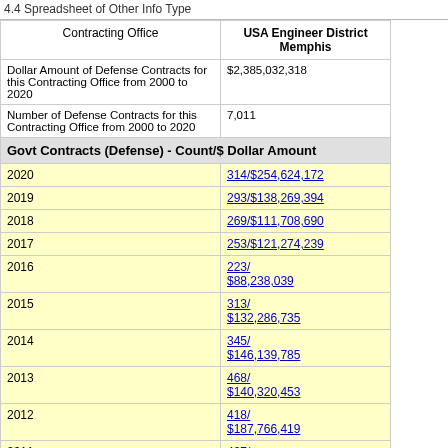4.4 Spreadsheet of Other Info Type
| Contracting Office | USA Engineer District Memphis |
| --- | --- |
| Dollar Amount of Defense Contracts for this Contracting Office from 2000 to 2020 | $2,385,032,318 |
| Number of Defense Contracts for this Contracting Office from 2000 to 2020 | 7,011 |
| Govt Contracts (Defense) - Count/$ Dollar Amount |  |
| 2020 | 314/$254,624,172 |
| 2019 | 293/$138,269,394 |
| 2018 | 269/$111,708,690 |
| 2017 | 253/$121,274,239 |
| 2016 | 223/
$88,238,039 |
| 2015 | 313/
$132,286,735 |
| 2014 | 345/
$146,139,785 |
| 2013 | 468/
$140,320,453 |
| 2012 | 418/
$187,766,419 |
| 2011 | 497/
$92,139,623 |
| 2010 | 515/
$168,819,170 |
| 2009 | 532/
$126,586,397 |
| 2008 | 409/ |